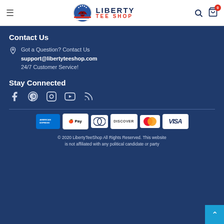Liberty Tee Shop
Contact Us
Got a Question? Contact Us
support@libertyteeshop.com
24/7 Customer Service!
Stay Connected
[Figure (other): Social media icons: Facebook, Pinterest, Instagram, YouTube, RSS feed]
[Figure (other): Payment method icons: American Express, Apple Pay, Diners Club, Discover, Mastercard, Visa]
© 2020 LibertyTeeShop All Rights Reserved. This website is not affiliated with any political candidate or party